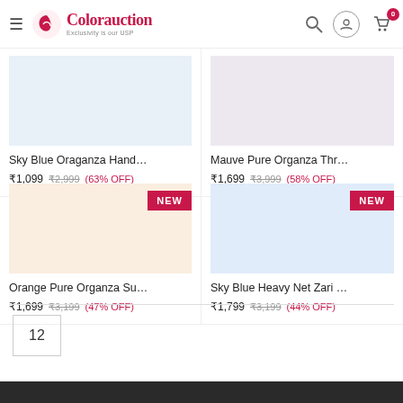Colorauction — Exclusivity is our USP
Sky Blue Oraganza Hand… ₹1,099 ₹2,999 (63% OFF)
Mauve Pure Organza Thr… ₹1,699 ₹3,999 (58% OFF)
Orange Pure Organza Su… ₹1,699 ₹3,199 (47% OFF)
Sky Blue Heavy Net Zari … ₹1,799 ₹3,199 (44% OFF)
12